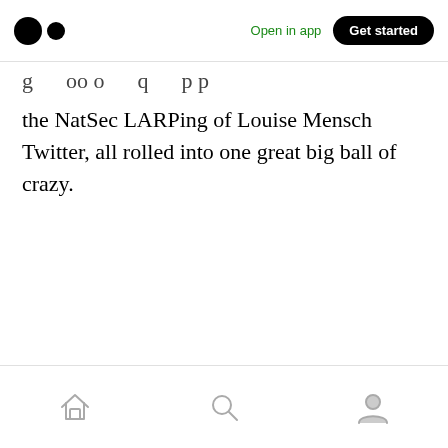Medium app header — logo, Open in app, Get started
…g so o q p p the NatSec LARPing of Louise Mensch Twitter, all rolled into one great big ball of crazy.
Bottom navigation bar with home, search, and profile icons